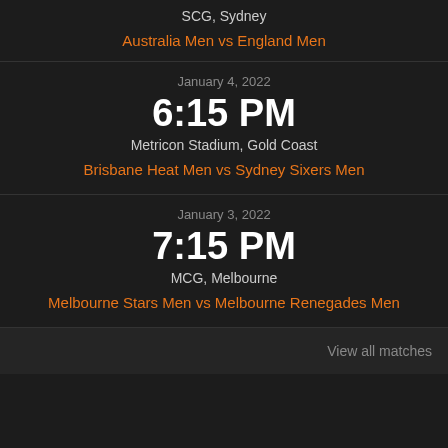SCG, Sydney
Australia Men vs England Men
January 4, 2022
6:15 PM
Metricon Stadium, Gold Coast
Brisbane Heat Men vs Sydney Sixers Men
January 3, 2022
7:15 PM
MCG, Melbourne
Melbourne Stars Men vs Melbourne Renegades Men
View all matches